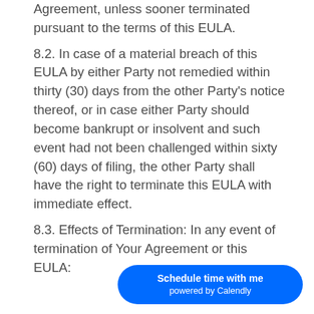Agreement, unless sooner terminated pursuant to the terms of this EULA. 8.2. In case of a material breach of this EULA by either Party not remedied within thirty (30) days from the other Party's notice thereof, or in case either Party should become bankrupt or insolvent and such event had not been challenged within sixty (60) days of filing, the other Party shall have the right to terminate this EULA with immediate effect. 8.3. Effects of Termination: In any event of termination of Your Agreement or this EULA:
[Figure (other): Calendly scheduling button overlay reading 'Schedule time with me powered by Calendly' in white text on a blue rounded rectangle]